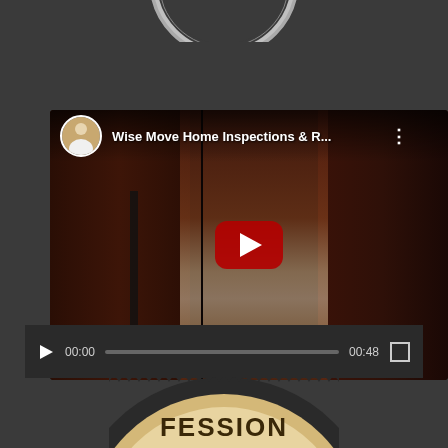[Figure (logo): Partial circular logo cropped at top of page, white/grey on dark background]
[Figure (screenshot): YouTube video player showing 'Wise Move Home Inspections & R...' with dark interior scene, red play button overlay, avatar thumbnail, video controls showing 00:00 current time and 00:48 duration]
[Figure (logo): Partial circular badge/seal at bottom with text 'FESSION' visible (part of PROFESSIONAL) on cream/tan background with dark scalloped border]